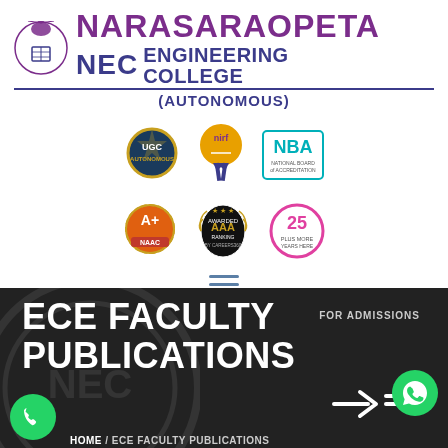[Figure (logo): Narasaraopeta Engineering College (NEC) logo with emblem, purple and dark blue text, NARASARAOPETA in purple, ENGINEERING COLLEGE in dark blue, (AUTONOMOUS) below a horizontal rule]
[Figure (logo): Six accreditation/ranking badges: UGC Autonomous, NIRF, NBA, NAAC A+, AAA Ranking by Careers360, 25 years badge]
[Figure (other): Hamburger menu icon (three horizontal lines) in blue-grey color]
ECE FACULTY PUBLICATIONS
FOR ADMISSIONS
HOME / ECE FACULTY PUBLICATIONS